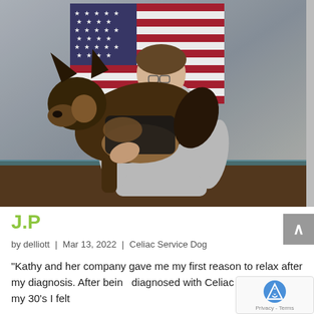[Figure (photo): A woman smiling and crouching behind a German Shepherd dog wearing a service dog vest. An American flag is visible in the background. The setting appears to be an indoor room.]
J.P
by delliott | Mar 13, 2022 | Celiac Service Dog
“Kathy and her company gave me my first reason to relax after my diagnosis. After being diagnosed with Celiac Disease in my 30’s I felt